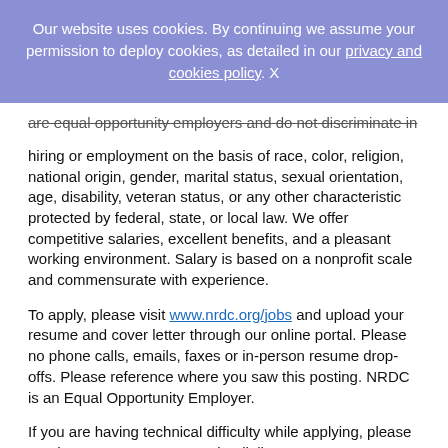Our website uses cookies. By continuing we assume your permission to deploy cookies, as detailed in our privacy and cookies policy. X
are equal opportunity employers and do not discriminate in hiring or employment on the basis of race, color, religion, national origin, gender, marital status, sexual orientation, age, disability, veteran status, or any other characteristic protected by federal, state, or local law. We offer competitive salaries, excellent benefits, and a pleasant working environment. Salary is based on a nonprofit scale and commensurate with experience.
To apply, please visit www.nrdc.org/jobs and upload your resume and cover letter through our online portal. Please no phone calls, emails, faxes or in-person resume drop-offs. Please reference where you saw this posting. NRDC is an Equal Opportunity Employer.
If you are having technical difficulty while applying, please reach out to Customer Care by dialing 1-866-803-9663.
For further information about NRDC, please visit www.nrdc.org